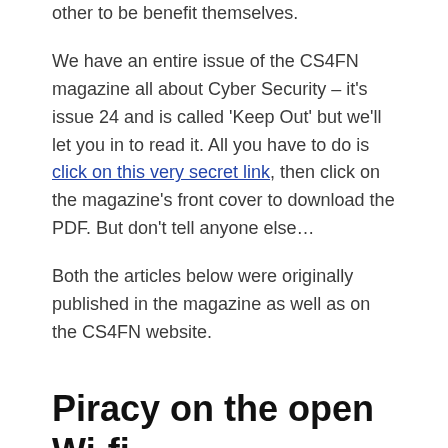other to be benefit themselves.
We have an entire issue of the CS4FN magazine all about Cyber Security – it's issue 24 and is called 'Keep Out' but we'll let you in to read it. All you have to do is click on this very secret link, then click on the magazine's front cover to download the PDF. But don't tell anyone else…
Both the articles below were originally published in the magazine as well as on the CS4FN website.
Piracy on the open Wi-fi
by Jane Waite, Queen Mary University of London.